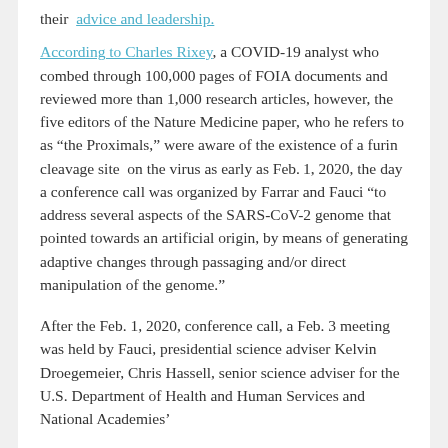their advice and leadership.
According to Charles Rixey, a COVID-19 analyst who combed through 100,000 pages of FOIA documents and reviewed more than 1,000 research articles, however, the five editors of the Nature Medicine paper, who he refers to as “the Proximals,” were aware of the existence of a furin cleavage site on the virus as early as Feb. 1, 2020, the day a conference call was organized by Farrar and Fauci “to address several aspects of the SARS-CoV-2 genome that pointed towards an artificial origin, by means of generating adaptive changes through passaging and/or direct manipulation of the genome.”
After the Feb. 1, 2020, conference call, a Feb. 3 meeting was held by Fauci, presidential science adviser Kelvin Droegemeier, Chris Hassell, senior science adviser for the U.S. Department of Health and Human Services and National Academies’